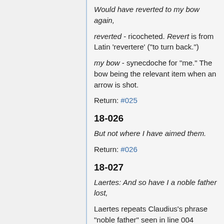Would have reverted to my bow again,
reverted - ricocheted. Revert is from Latin 'revertere' ("to turn back.")
my bow - synecdoche for "me." The bow being the relevant item when an arrow is shot.
Return: #025
18-026
But not where I have aimed them.
Return: #026
18-027
Laertes: And so have I a noble father lost,
Laertes repeats Claudius's phrase "noble father" seen in line 004 above. This subtly reveals how Claudius has begun leading Laertes's thoughts.
Return: #027